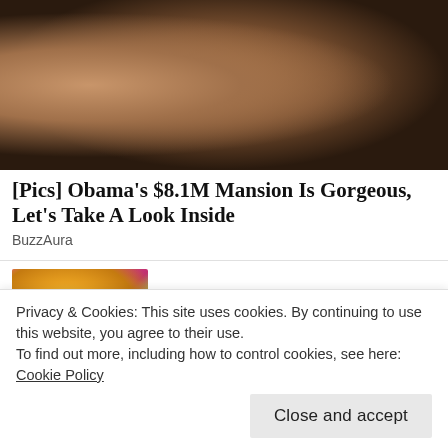[Figure (photo): Three people posing together, smiling, outdoor background with greenery]
[Pics] Obama's $8.1M Mansion Is Gorgeous, Let's Take A Look Inside
BuzzAura
[Figure (photo): Blonde woman smiling, pink/outdoor background]
[Photos] At 38, Amber Rose lives so luxuriously
Privacy & Cookies: This site uses cookies. By continuing to use this website, you agree to their use.
To find out more, including how to control cookies, see here: Cookie Policy
Close and accept
[Figure (photo): Partial image of person, cut off at bottom]
Living In This House With His Pa...